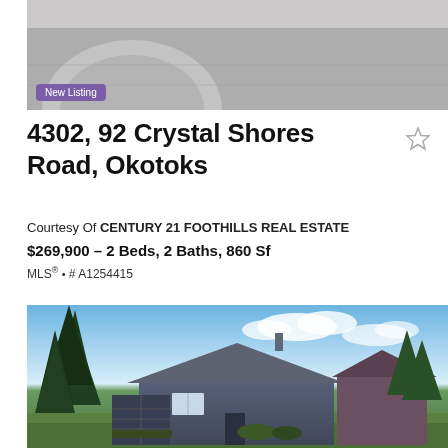[Figure (photo): Aerial or street-level view of a parking lot or road with a circular curb cutout, gray asphalt]
New Listing
4302, 92 Crystal Shores Road, Okotoks
Courtesy Of CENTURY 21 FOOTHILLS REAL ESTATE
$269,900 – 2 Beds, 2 Baths, 860 Sf
MLS® # A1254415
[Figure (photo): Exterior photo of a single-storey house with dark blue/gray siding, large evergreen trees on the left, and a bright blue sky with white clouds in the background]